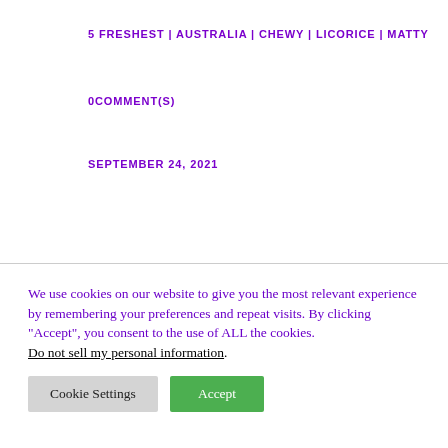5 FRESHEST | AUSTRALIA | CHEWY | LICORICE | MATTY
0COMMENT(S)
SEPTEMBER 24, 2021
We use cookies on our website to give you the most relevant experience by remembering your preferences and repeat visits. By clicking “Accept”, you consent to the use of ALL the cookies. Do not sell my personal information.
Cookie Settings  Accept